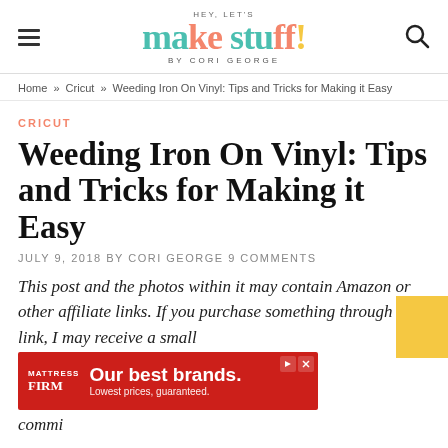Hey, Let's Make Stuff! by Cori George
Home » Cricut » Weeding Iron On Vinyl: Tips and Tricks for Making it Easy
CRICUT
Weeding Iron On Vinyl: Tips and Tricks for Making it Easy
JULY 9, 2018 BY CORI GEORGE 9 COMMENTS
This post and the photos within it may contain Amazon or other affiliate links. If you purchase something through the link, I may receive a small commission.
[Figure (other): Mattress Firm advertisement banner: 'Our best brands. Lowest prices, guaranteed.']